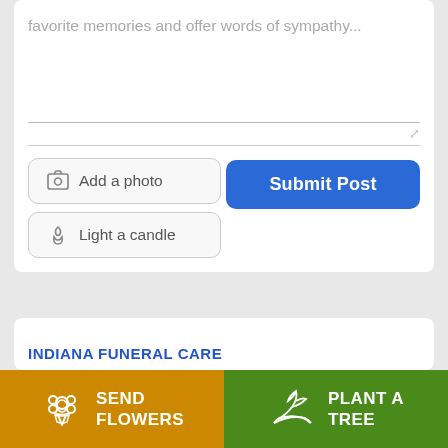favorite memories and offer words of sympathy...
[Figure (screenshot): Add a photo button with image icon]
[Figure (screenshot): Light a candle button with flame icon]
[Figure (screenshot): Submit Post blue button]
INDIANA FUNERAL CARE
[Figure (screenshot): Send Flowers button in orange with flower bouquet icon]
[Figure (screenshot): Plant a Tree button in green with hand holding plant icon]